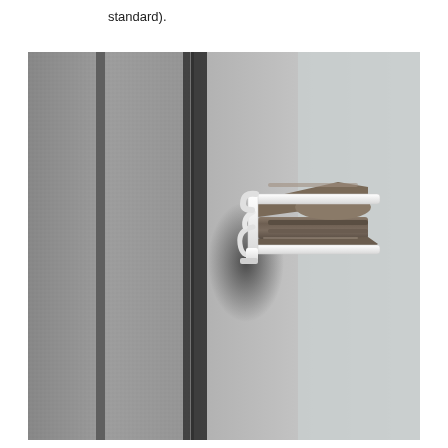standard).
[Figure (photo): Close-up photo of a door or window frame sealing system showing a weatherstrip/gasket profile in brown/grey color with a white plastic retainer clip, set against aluminium door frame panels with grey textured surfaces.]